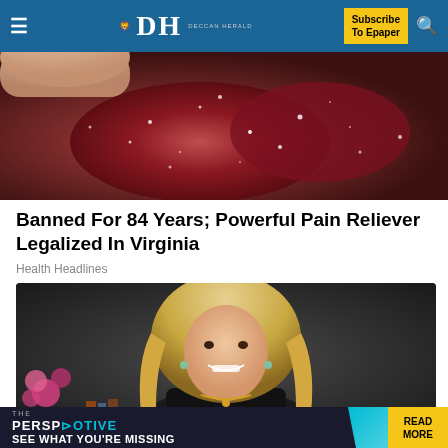DH DECCAN HERALD | Subscribe To Epaper
[Figure (photo): Close-up photo of sparkling dark red/burgundy gummy candy or similar food item held in a hand]
Banned For 84 Years; Powerful Pain Reliever Legalized In Virginia
Health Headlines
[Figure (photo): Professional portrait photo of a blonde woman in a black judicial robe, smiling, with pink flowers and books in the background]
[Figure (infographic): THE PERSPECTIVE - SEE WHAT YOU'RE MISSING - READ MORE banner advertisement]